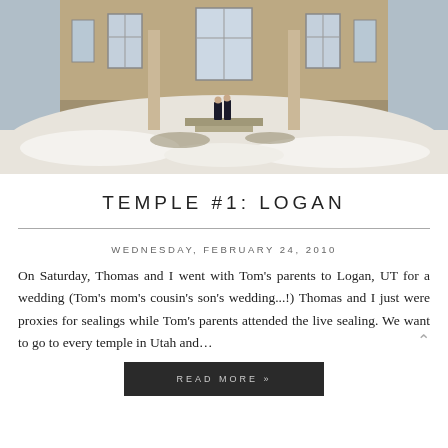[Figure (photo): A couple standing in front of the Logan Utah Temple, a large stone building with tall windows, surrounded by snow-patched grounds in winter.]
TEMPLE #1: LOGAN
WEDNESDAY, FEBRUARY 24, 2010
On Saturday, Thomas and I went with Tom's parents to Logan, UT for a wedding (Tom's mom's cousin's son's wedding...!) Thomas and I just were proxies for sealings while Tom's parents attended the live sealing. We want to go to every temple in Utah and...
READ MORE »